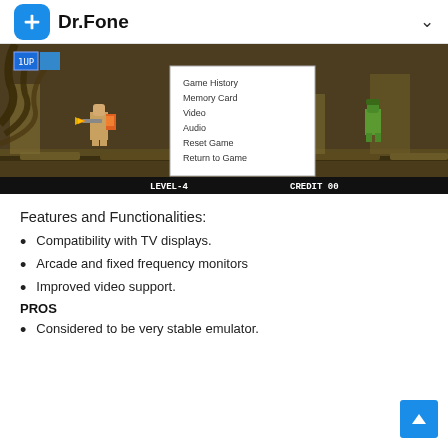Dr.Fone
[Figure (screenshot): A retro arcade game screenshot showing a battle scene (Metal Slug style) at Level-4, Credit 00, with a popup menu showing: Game History, Memory Card, Video, Audio, Reset Game, Return to Game]
Features and Functionalities:
Compatibility with TV displays.
Arcade and fixed frequency monitors
Improved video support.
PROS
Considered to be very stable emulator.